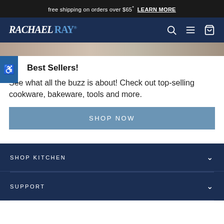free shipping on orders over $65* LEARN MORE
[Figure (logo): Rachael Ray logo with navigation icons (search, menu, cart) on dark navy background]
[Figure (photo): Partial hero image strip showing kitchen/cookware scene]
Best Sellers!
See what all the buzz is about! Check out top-selling cookware, bakeware, tools and more.
SHOP NOW
SHOP KITCHEN
SUPPORT